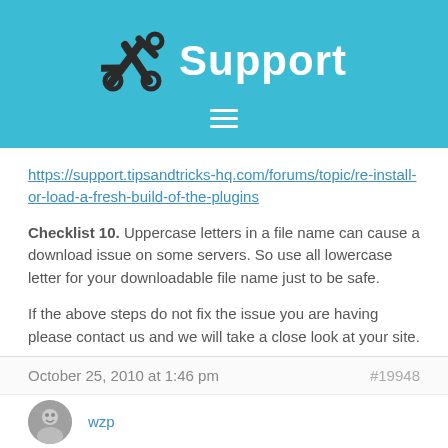Support
https://support.tipsandtricks-hq.com/forums/topic/re-install-or-load-a-fresh-build-of-the-plugins
Checklist 10. Uppercase letters in a file name can cause a download issue on some servers. So use all lowercase letter for your downloadable file name just to be safe.
If the above steps do not fix the issue you are having please contact us and we will take a close look at your site.
October 25, 2010 at 1:46 pm  #19948
wzp